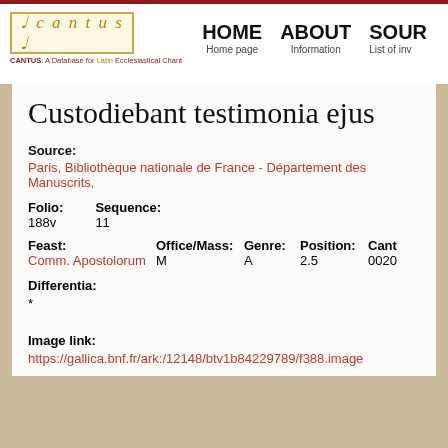CANTUS: A Database for Latin Ecclesiastical Chant | HOME Home page | ABOUT Information | SOUR List of inv
Custodiebant testimonia ejus
Source:
Paris, Bibliothèque nationale de France - Département des Manuscrits,
Folio: 188v   Sequence: 11
Feast: Comm. Apostolorum   Office/Mass: M   Genre: A   Position: 2.5   Cant: 0020
Differentia: *
Image link:
https://gallica.bnf.fr/ark:/12148/btv1b84229789/f388.image